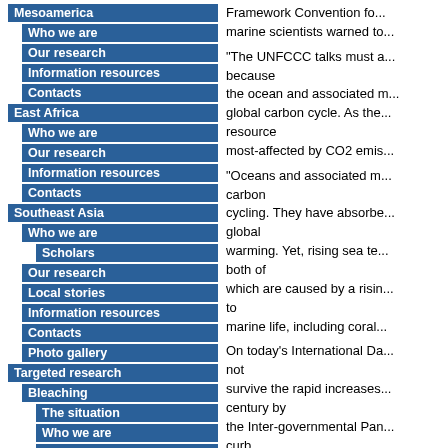Mesoamerica
Who we are
Our research
Information resources
Contacts
East Africa
Who we are
Our research
Information resources
Contacts
Southeast Asia
Who we are
Scholars
Our research
Local stories
Information resources
Contacts
Photo gallery
Targeted research
Bleaching
The situation
Who we are
Our research
Progress so far
Information resources
Contacts
Connectivity
The situation
Who we are
Our research
Framework Convention for... marine scientists warned to...
“The UNFCCC talks must a... because the ocean and associated m... global carbon cycle. As the... resource most-affected by CO2 emis...
“Oceans and associated m... carbon cycling. They have absorbe... global warming. Yet, rising sea te... both of which are caused by a risin... to marine life, including coral...
On today’s International Da... not survive the rapid increases... century by the Inter-governmental Pan... curb CO2 emissions.
“As a result, the livelihoods...